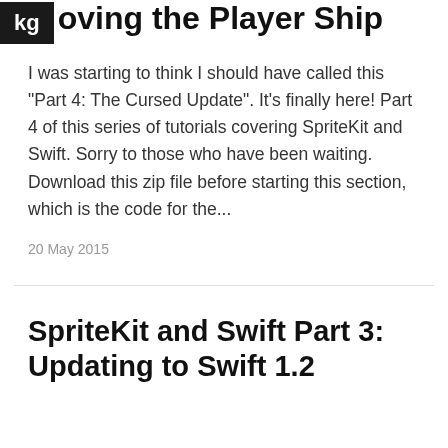SpriteKit and Swift Part 4: Moving the Player Ship
I was starting to think I should have called this "Part 4: The Cursed Update". It's finally here! Part 4 of this series of tutorials covering SpriteKit and Swift. Sorry to those who have been waiting. Download this zip file before starting this section, which is the code for the...
20 May 2015
SpriteKit and Swift Part 3: Updating to Swift 1.2